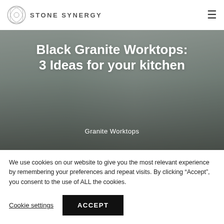STONE SYNERGY
[Figure (photo): Kitchen with stone worktops, sink, and modern cabinetry serving as hero background image]
Black Granite Worktops: 3 Ideas for your kitchen
Granite Worktops
We use cookies on our website to give you the most relevant experience by remembering your preferences and repeat visits. By clicking “Accept”, you consent to the use of ALL the cookies.
Cookie settings   ACCEPT